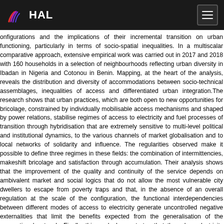HAL
onfigurations and the implications of their incremental transition on urban functioning, particularly in terms of socio-spatial inequalities. In a multiscalar comparative approach, extensive empirical work was carried out in 2017 and 2018 with 160 households in a selection of neighbourhoods reflecting urban diversity in Ibadan in Nigeria and Cotonou in Benin. Mapping, at the heart of the analysis, reveals the distribution and diversity of accommodations between socio-technical assemblages, inequalities of access and differentiated urban integration.The research shows that urban practices, which are both open to new opportunities for bricolage, constrained by individually mobilisable access mechanisms and shaped by power relations, stabilise regimes of access to electricity and fuel processes of transition through hybridisation that are extremely sensitive to multi-level political and institutional dynamics, to the various channels of market globalisation and to local networks of solidarity and influence. The regularities observed make it possible to define three regimes in these fields: the combination of intermittencies, makeshift bricolage and satisfaction through accumulation. Their analysis shows that the improvement of the quality and continuity of the service depends on ambivalent market and social logics that do not allow the most vulnerable city dwellers to escape from poverty traps and that, in the absence of an overall regulation at the scale of the configuration, the functional interdependencies between different modes of access to electricity generate uncontrolled negative externalities that limit the benefits expected from the generalisation of the conventional network. Finally, this work demonstrates that the urban electricity transition requires going beyond the reference of the single and uniform